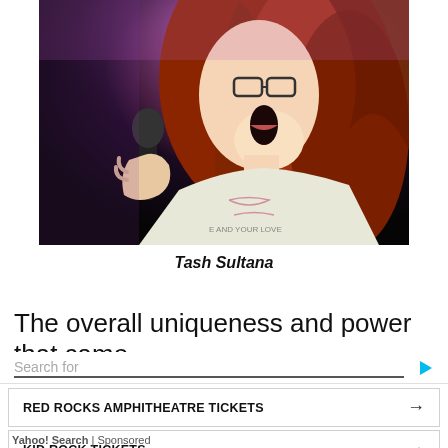[Figure (photo): A performer with long red wavy hair and glasses, singing into a microphone on stage, wearing a white graphic t-shirt, with purple stage lighting in the background.]
Tash Sultana
The overall uniqueness and power that came
[Figure (screenshot): Yahoo Search sponsored ad overlay with search bar and two ad results: RED ROCKS AMPHITHEATRE TICKETS and KID ROCK TICKETS]
Yahoo! Search | Sponsored